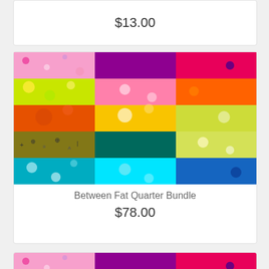$13.00
[Figure (photo): Colorful fat quarter fabric bundle showing multiple patterned fabric swatches in pink, purple, orange, yellow, green, teal, blue, and white with various patterns including florals, geometric symbols, and abstract designs]
Between Fat Quarter Bundle
$78.00
[Figure (photo): Partial view of another colorful fat quarter fabric bundle similar to above, showing top portion with pink, purple, orange fabric swatches]